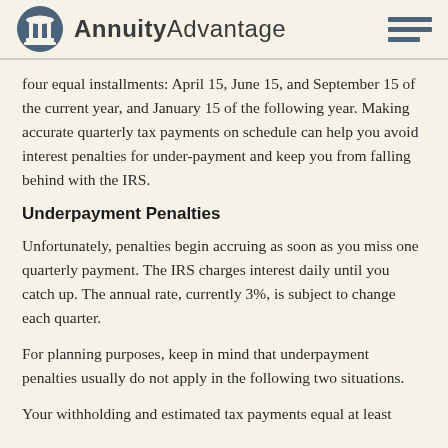AnnuityAdvantage
four equal installments: April 15, June 15, and September 15 of the current year, and January 15 of the following year. Making accurate quarterly tax payments on schedule can help you avoid interest penalties for under-payment and keep you from falling behind with the IRS.
Underpayment Penalties
Unfortunately, penalties begin accruing as soon as you miss one quarterly payment. The IRS charges interest daily until you catch up. The annual rate, currently 3%, is subject to change each quarter.
For planning purposes, keep in mind that underpayment penalties usually do not apply in the following two situations.
Your withholding and estimated tax payments equal at least...